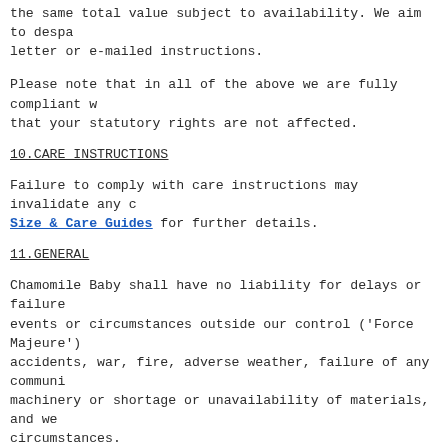the same total value subject to availability. We aim to despatch on receipt of a letter or e-mailed instructions.
Please note that in all of the above we are fully compliant w... that your statutory rights are not affected.
10.CARE INSTRUCTIONS
Failure to comply with care instructions may invalidate any c... Size & Care Guides for further details.
11.GENERAL
Chamomile Baby shall have no liability for delays or failure... events or circumstances outside our control ('Force Majeure')... accidents, war, fire, adverse weather, failure of any communi... machinery or shortage or unavailability of materials, and we... circumstances.
Contracts between Chamomile Baby and you will be governed by... the English Courts. If any provision of the Conditions shall... whole or in part, the validity of the remaining parts of the... unaffected.
12.A FINAL WORD
We hope that you will be entirely happy with both our produ...